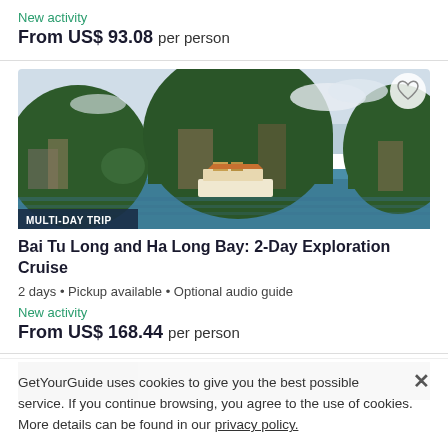New activity
From US$ 93.08 per person
[Figure (photo): Ha Long Bay scene with limestone karst islands and a cruise boat on calm teal water]
MULTI-DAY TRIP
Bai Tu Long and Ha Long Bay: 2-Day Exploration Cruise
2 days • Pickup available • Optional audio guide
New activity
From US$ 168.44 per person
[Figure (photo): Partially visible dark landscape photo at bottom of page]
GetYourGuide uses cookies to give you the best possible service. If you continue browsing, you agree to the use of cookies. More details can be found in our privacy policy.